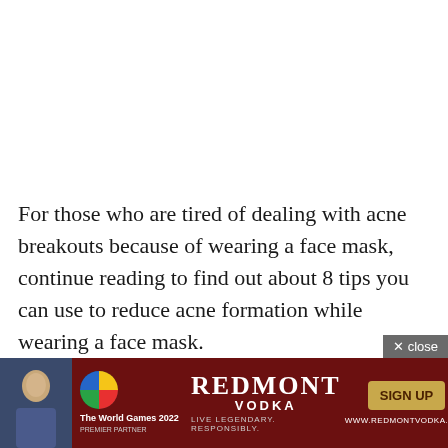For those who are tired of dealing with acne breakouts because of wearing a face mask, continue reading to find out about 8 tips you can use to reduce acne formation while wearing a face mask.
8 Tips to Implement
For starters, if you're suffering from acne as a result of
[Figure (advertisement): Redmont Vodka advertisement banner with The World Games 2022 Premier Partner branding. Includes a person photo on left, colorful logo, Redmont Vodka text center, and SIGN UP button with www.redmontvodka.com website. Red background with gold accents.]